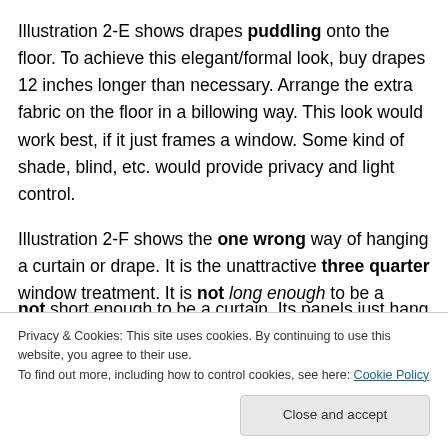Illustration 2-E shows drapes puddling onto the floor. To achieve this elegant/formal look, buy drapes 12 inches longer than necessary. Arrange the extra fabric on the floor in a billowing way. This look would work best, if it just frames a window. Some kind of shade, blind, etc. would provide privacy and light control.
Illustration 2-F shows the one wrong way of hanging a curtain or drape. It is the unattractive three quarter window treatment. It is not long enough to be a drape, and not short enough to be a curtain. Its panels just hang...
Privacy & Cookies: This site uses cookies. By continuing to use this website, you agree to their use. To find out more, including how to control cookies, see here: Cookie Policy